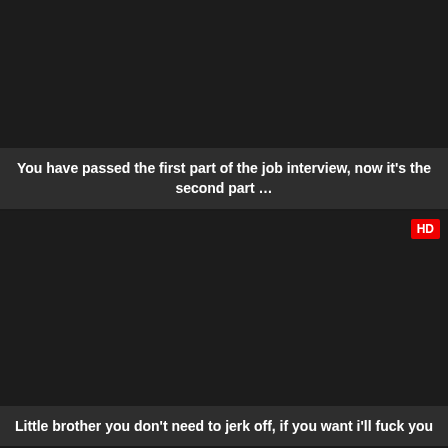[Figure (screenshot): Dark video thumbnail, top card, no HD badge]
You have passed the first part of the job interview, now it's the second part …
[Figure (screenshot): Dark video thumbnail with HD badge in top-right corner]
Little brother you don't need to jerk off, if you want i'll fuck you
[Figure (screenshot): Dark video thumbnail with HD badge in top-right corner, partial view]